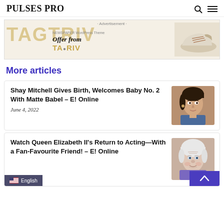PULSES PRO
[Figure (infographic): Advertisement banner for TAGTRIV NEWSPAPER WordPress Theme with shoe image and 'Offer from TA●RIV' text]
More articles
Shay Mitchell Gives Birth, Welcomes Baby No. 2 With Matte Babel – E! Online
June 4, 2022
[Figure (photo): Photo of Shay Mitchell, a woman with dark hair pulled back, wearing earrings and a denim jacket]
Watch Queen Elizabeth II's Return to Acting—With a Fan-Favourite Friend! – E! Online
[Figure (photo): Photo of Queen Elizabeth II, elderly woman with white hair, smiling]